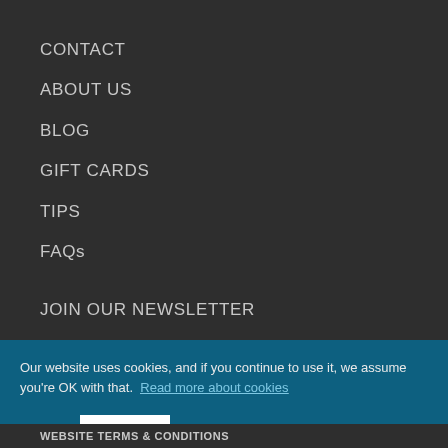CONTACT
ABOUT US
BLOG
GIFT CARDS
TIPS
FAQs
JOIN OUR NEWSLETTER
ERRATA
Our website uses cookies, and if you continue to use it, we assume you're OK with that. Read more about cookies
YUP!
WEBSITE TERMS & CONDITIONS